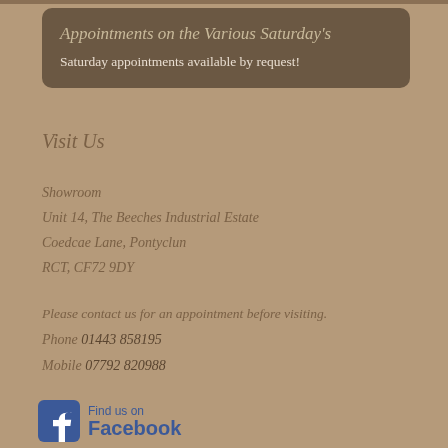Appointments on the Various Saturday's
Saturday appointments available by request!
Visit Us
Showroom
Unit 14, The Beeches Industrial Estate
Coedcae Lane, Pontyclun
RCT, CF72 9DY
Please contact us for an appointment before visiting.
Phone 01443 858195
Mobile 07792 820988
[Figure (logo): Find us on Facebook logo with blue Facebook icon and text]